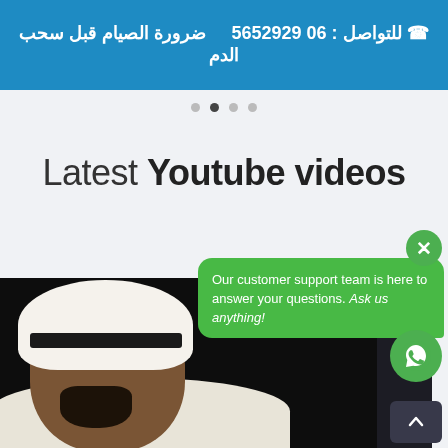[Figure (screenshot): Blue banner with Arabic text and phone number: للتواصل : 06 5652929  ضرورة الصيام قبل سحب الدم]
[Figure (other): Carousel navigation dots, second dot active]
Latest Youtube videos
[Figure (photo): A man wearing traditional Arab white headdress and clothing with a beard, on a dark background]
[Figure (screenshot): WhatsApp chat popup with close button, message: Our customer support team is here to answer your questions. Ask us anything!, WhatsApp icon button, and scroll-to-top button]